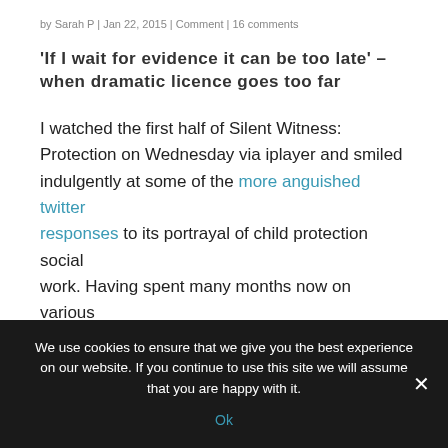by Sarah P | Jan 22, 2015 | Comment | 16 comments
'If I wait for evidence it can be too late' – when dramatic licence goes too far
I watched the first half of Silent Witness: Protection on Wednesday via iplayer and smiled indulgently at some of the more anguished twitter responses to its portrayal of child protection social work. Having spent many months now on various
We use cookies to ensure that we give you the best experience on our website. If you continue to use this site we will assume that you are happy with it.